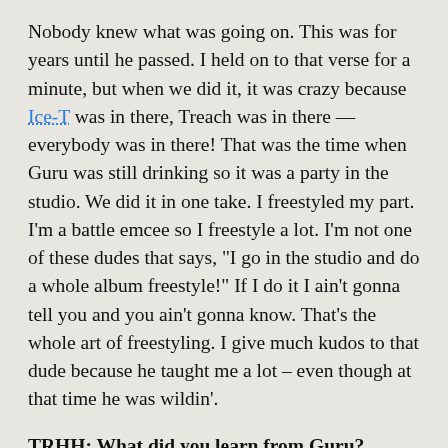Nobody knew what was going on. This was for years until he passed. I held on to that verse for a minute, but when we did it, it was crazy because Ice-T was in there, Treach was in there — everybody was in there! That was the time when Guru was still drinking so it was a party in the studio. We did it in one take. I freestyled my part. I'm a battle emcee so I freestyle a lot. I'm not one of these dudes that says, "I go in the studio and do a whole album freestyle!" If I do it I ain't gonna tell you and you ain't gonna know. That's the whole art of freestyling. I give much kudos to that dude because he taught me a lot – even though at that time he was wildin'.
TRHH: What did you learn from Guru?
Fong-Sai-U: Stuff like be patient. I was always trying to get on. The thing between me and him was I never